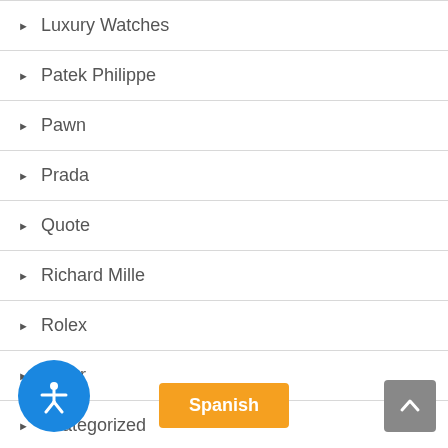Luxury Watches
Patek Philippe
Pawn
Prada
Quote
Richard Mille
Rolex
Silver
Uncategorized